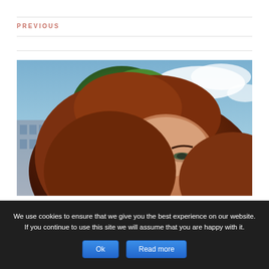PREVIOUS
[Figure (photo): Close-up photo of a woman with auburn/red-brown hair outdoors, with trees and cloudy blue sky in the background and a building partially visible on the left.]
We use cookies to ensure that we give you the best experience on our website. If you continue to use this site we will assume that you are happy with it.